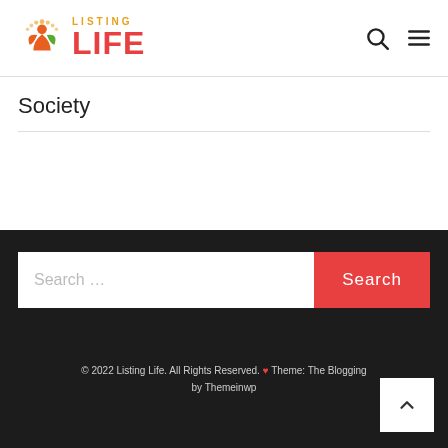[Figure (logo): Listing Life logo with orange/red leaf icon and red bold text]
Society
[Figure (screenshot): Search bar with text input and red Search button]
© 2022 Listing Life. All Rights Reserved. ❤ Theme: The Blogging by Themeinwp